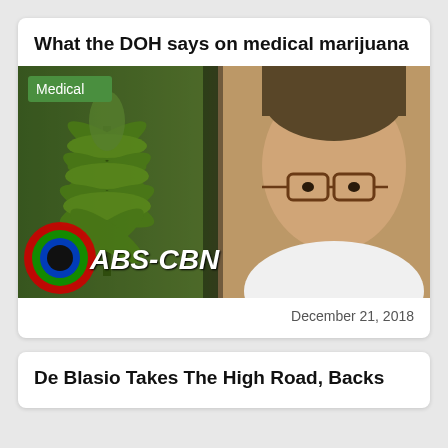What the DOH says on medical marijuana
[Figure (photo): ABS-CBN news video thumbnail showing a cannabis plant on the left and a middle-aged Asian man in glasses and white coat on the right, with ABS-CBN logo overlay and a green 'Medical' tag badge]
December 21, 2018
De Blasio Takes The High Road, Backs